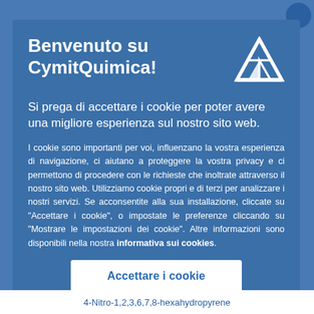Benvenuto su CymitQuimica!
Si prega di accettare i cookie per poter avere una migliore esperienza sul nostro sito web.
I cookie sono importanti per voi, influenzano la vostra esperienza di navigazione, ci aiutano a proteggere la vostra privacy e ci permettono di procedere con le richieste che inoltrate attraverso il nostro sito web. Utilizziamo cookie propri e di terzi per analizzare i nostri servizi. Se acconsentite alla sua installazione, cliccate su "Accettare i cookie", o impostate le preferenze cliccando su "Mostrare le impostazioni dei cookie". Altre informazioni sono disponibili nella nostra informativa sui cookies.
Accettare i cookie
4-Nitro-1,2,3,6,7,8-hexahydropyrene